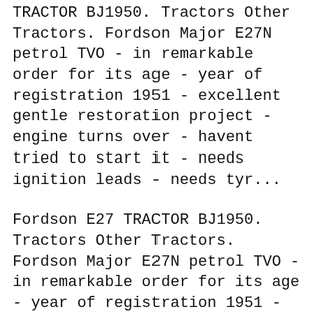TRACTOR BJ1950. Tractors Other Tractors. Fordson Major E27N petrol TVO - in remarkable order for its age - year of registration 1951 - excellent gentle restoration project - engine turns over - havent tried to start it - needs ignition leads - needs tyr...
Fordson E27 TRACTOR BJ1950. Tractors Other Tractors. Fordson Major E27N petrol TVO - in remarkable order for its age - year of registration 1951 - excellent gentle restoration project - engine turns over - havent tried to start it - needs ignition leads - needs tyr... OIL FILTER Ford Fordson Major Diesel Power Major Super Major Tractor. 5.0 out of 5 stars 1. $17.27 $ 17. 27. FREE Shipping.